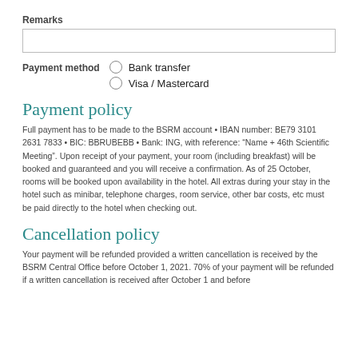Remarks
Payment method   Bank transfer   Visa / Mastercard
Payment policy
Full payment has to be made to the BSRM account • IBAN number: BE79 3101 2631 7833 • BIC: BBRUBEBB • Bank: ING, with reference: “Name + 46th Scientific Meeting”. Upon receipt of your payment, your room (including breakfast) will be booked and guaranteed and you will receive a confirmation. As of 25 October, rooms will be booked upon availability in the hotel. All extras during your stay in the hotel such as minibar, telephone charges, room service, other bar costs, etc must be paid directly to the hotel when checking out.
Cancellation policy
Your payment will be refunded provided a written cancellation is received by the BSRM Central Office before October 1, 2021. 70% of your payment will be refunded if a written cancellation is received after October 1 and before